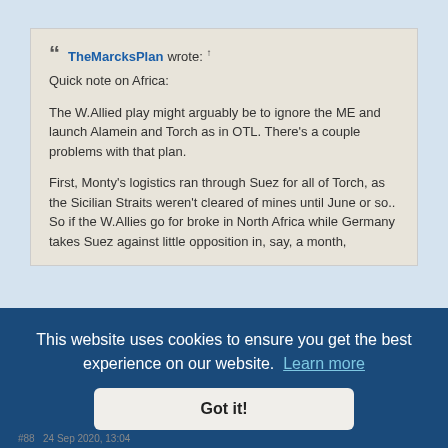TheMarcksPlan wrote: ↑
Quick note on Africa:

The W.Allied play might arguably be to ignore the ME and launch Alamein and Torch as in OTL. There's a couple problems with that plan.

First, Monty's logistics ran through Suez for all of Torch, as the Sicilian Straits weren't cleared of mines until June or so.. So if the W.Allies go for broke in North Africa while Germany takes Suez against little opposition in, say, a month,
Most of the pursuit by Eighth Army through Libya was by only four divisions. Only three divisions, 2 New Zealand, 51 Highland Division, 7 ... advance
This website uses cookies to ensure you get the best experience on our website. Learn more
Got it!
#88  24 Sep 2020, 13:04